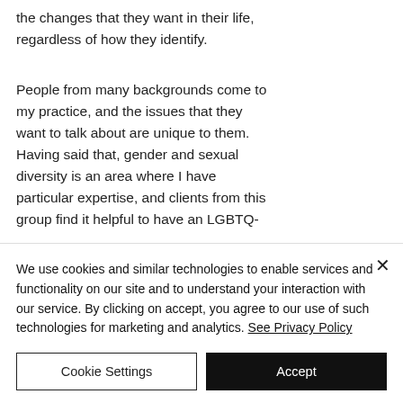the changes that they want in their life, regardless of how they identify.
People from many backgrounds come to my practice, and the issues that they want to talk about are unique to them. Having said that, gender and sexual diversity is an area where I have particular expertise, and clients from this group find it helpful to have an LGBTQ-
We use cookies and similar technologies to enable services and functionality on our site and to understand your interaction with our service. By clicking on accept, you agree to our use of such technologies for marketing and analytics. See Privacy Policy
Cookie Settings
Accept